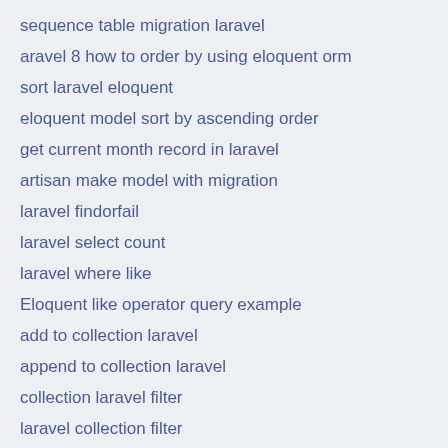sequence table migration laravel
aravel 8 how to order by using eloquent orm
sort laravel eloquent
eloquent model sort by ascending order
get current month record in laravel
artisan make model with migration
laravel findorfail
laravel select count
laravel where like
Eloquent like operator query example
add to collection laravel
append to collection laravel
collection laravel filter
laravel collection filter